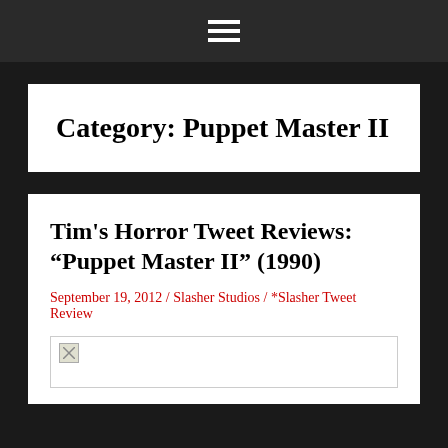☰ (hamburger menu icon)
Category: Puppet Master II
Tim's Horror Tweet Reviews: "Puppet Master II" (1990)
September 19, 2012 / Slasher Studios / *Slasher Tweet Review
[Figure (photo): Broken image placeholder]